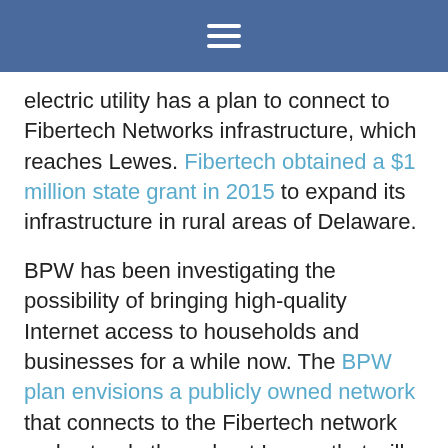≡
electric utility has a plan to connect to Fibertech Networks infrastructure, which reaches Lewes. Fibertech obtained a $1 million state grant in 2015 to expand its infrastructure in rural areas of Delaware.
BPW has been investigating the possibility of bringing high-quality Internet access to households and businesses for a while now. The BPW plan envisions a publicly owned network that connects to the Fibertech network and extends throughout Lewes that will be deployed in four phases. "The rolling deployment will help recover costs and help with funding the next phases," Gordon said.
"We want to take it slow to ensure